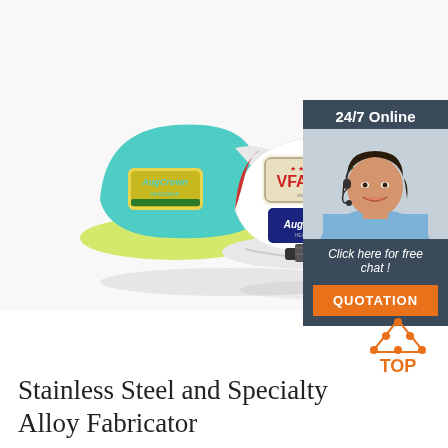[Figure (photo): Photo of several branded trucker/snapback caps (VFACAP, AugCrown, and others) in various colors including teal, white, black, and yellow, arranged together on a white background.]
[Figure (infographic): Customer service chat widget: dark blue/slate background, '24/7 Online' header, photo of smiling woman with headset, 'Click here for free chat!' text, and orange 'QUOTATION' button.]
[Figure (logo): Orange 'TOP' logo with triangle of dots above the text, positioned bottom-right.]
Stainless Steel and Specialty Alloy Fabricator